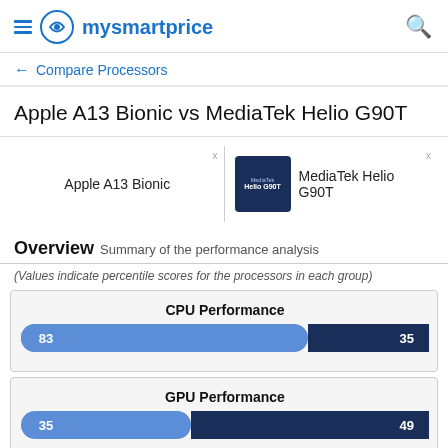mysmartprice
← Compare Processors
Apple A13 Bionic vs MediaTek Helio G90T
| Processor 1 | Processor 2 |
| --- | --- |
| Apple A13 Bionic | MediaTek Helio G90T |
Overview Summary of the performance analysis
(Values indicate percentile scores for the processors in each group)
[Figure (bar-chart): CPU Performance]
[Figure (bar-chart): GPU Performance]